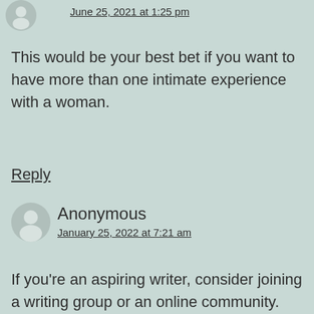June 25, 2021 at 1:25 pm
This would be your best bet if you want to have more than one intimate experience with a woman.
Reply
Anonymous
January 25, 2022 at 7:21 am
If you're an aspiring writer, consider joining a writing group or an online community.